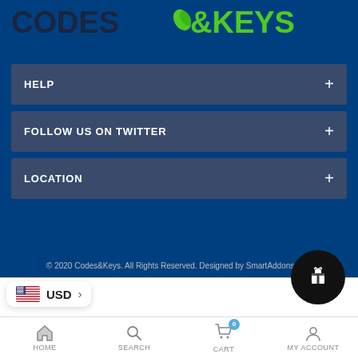[Figure (logo): Codes&Keys logo with leaf icon, dark navy and green text]
HELP +
FOLLOW US ON TWITTER +
LOCATION +
© 2020 Codes&Keys. All Rights Reserved. Designed by SmartAddons.com
USD >
[Figure (infographic): Gift/reward button icon (dark circle with gift box)]
HOME | SEARCH | CART 0 | MY ACCOUNT